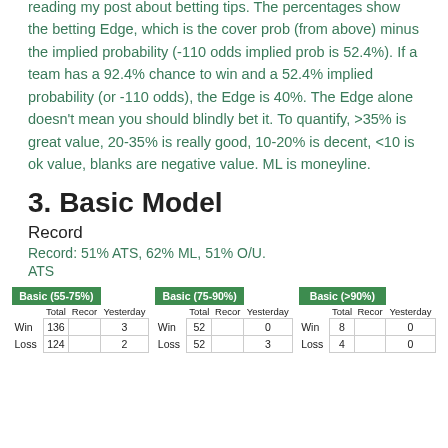reading my post about betting tips. The percentages show the betting Edge, which is the cover prob (from above) minus the implied probability (-110 odds implied prob is 52.4%). If a team has a 92.4% chance to win and a 52.4% implied probability (or -110 odds), the Edge is 40%. The Edge alone doesn't mean you should blindly bet it. To quantify, >35% is great value, 20-35% is really good, 10-20% is decent, <10 is ok value, blanks are negative value. ML is moneyline.
3. Basic Model
Record
Record: 51% ATS, 62% ML, 51% O/U.
ATS
| Basic (55-75%) | Total | Record | Yesterday |
| --- | --- | --- | --- |
| Win | 136 |  | 3 |
| Loss | 124 |  | 2 |
| Basic (75-90%) | Total | Record | Yesterday |
| --- | --- | --- | --- |
| Win | 52 |  | 0 |
| Loss | 52 |  | 3 |
| Basic (>90%) | Total | Record | Yesterday |
| --- | --- | --- | --- |
| Win | 8 |  | 0 |
| Loss | 4 |  | 0 |